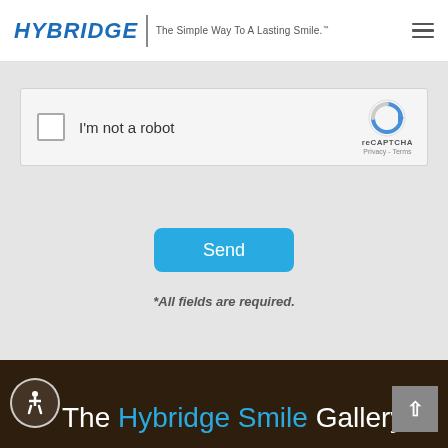HYBRIDGE | The Simple Way To A Lasting Smile.™
[Figure (screenshot): reCAPTCHA widget with checkbox labeled 'I'm not a robot' and the reCAPTCHA logo with Privacy and Terms links]
Send
*All fields are required.
The Hybridge Smile Gallery